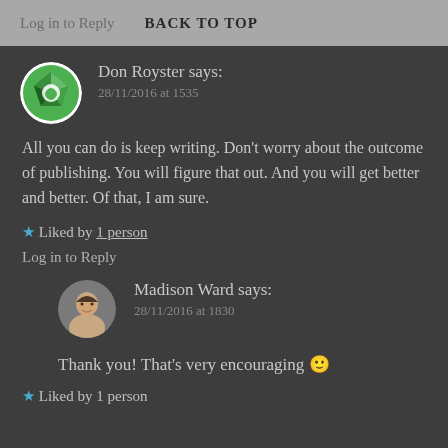Log in to Reply   BACK TO TOP
Don Royster says:
28/11/2016 at 1535
All you can do is keep writing. Don't worry about the outcome of publishing. You will figure that out. And you will get better and better. Of that, I am sure.
★ Liked by 1 person
Log in to Reply
Madison Ward says:
28/11/2016 at 1830
Thank you! That's very encouraging 🙂
★ Liked by 1 person